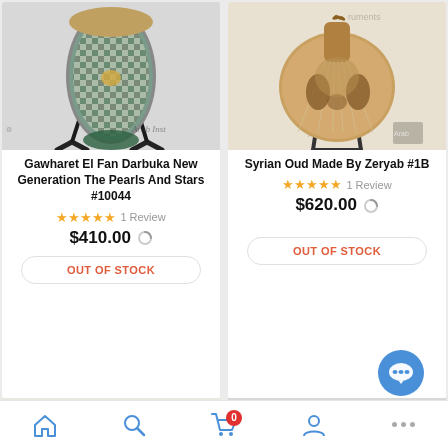[Figure (photo): Decorated darbuka drum with mosaic/mother-of-pearl pattern on instrument stand, with 'Arab Inst' watermark text visible]
Gawharet El Fan Darbuka New Generation The Pearls And Stars #10044
★★★★★ 1 Review
$410.00
OUT OF STOCK
[Figure (photo): Syrian oud (lute) on a stand with 'Arab Instruments' branding visible in background]
Syrian Oud Made By Zeryab #1B
★★★★★ 1 Review
$620.00
OUT OF STOCK
[Figure (photo): Partial view of a blue/teal stringed instrument (qanun or similar), cut off at bottom of page]
[Figure (photo): Partial view of another instrument, cut off at bottom of page, gray/neutral background]
Home | Search | Cart (0) | Account | More